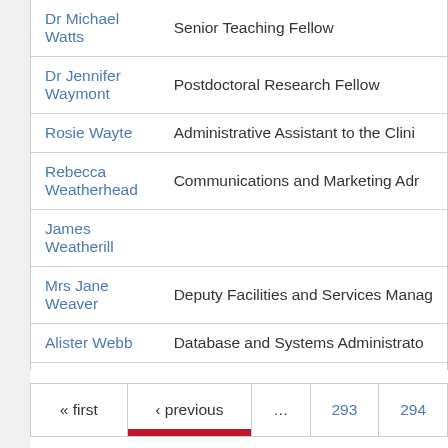| Name | Role |
| --- | --- |
| Dr Michael Watts | Senior Teaching Fellow |
| Dr Jennifer Waymont | Postdoctoral Research Fellow |
| Rosie Wayte | Administrative Assistant to the Clini… |
| Rebecca Weatherhead | Communications and Marketing Adm… |
| James Weatherill |  |
| Mrs Jane Weaver | Deputy Facilities and Services Manag… |
| Alister Webb | Database and Systems Administrato… |
| David Webb | Christison Chair of Therapeutics and… |
| Jamie Webb | Research Assistant |
« first  ‹ previous  ...  293  294